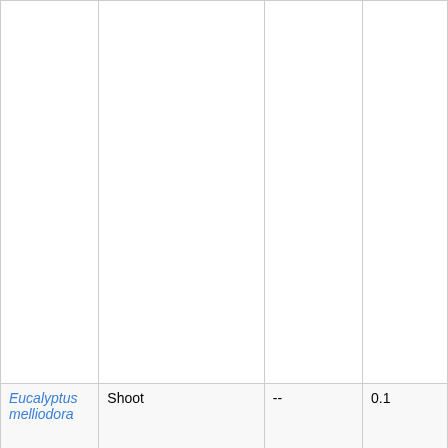|  |  |  |  |
| Eucalyptus melliodora | Shoot | -- | 0.1 |